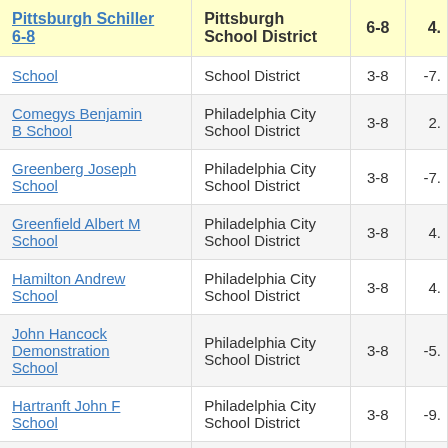| School | District | Grades | Value |
| --- | --- | --- | --- |
| Pittsburgh Schiller 6-8 | Pittsburgh School District | 6-8 | 4. |
| School | School District | 3-8 | -7. |
| Comegys Benjamin B School | Philadelphia City School District | 3-8 | 2. |
| Greenberg Joseph School | Philadelphia City School District | 3-8 | -7. |
| Greenfield Albert M School | Philadelphia City School District | 3-8 | 4. |
| Hamilton Andrew School | Philadelphia City School District | 3-8 | 4. |
| John Hancock Demonstration School | Philadelphia City School District | 3-8 | -5. |
| Hartranft John F School | Philadelphia City School District | 3-8 | -9. |
| Fitzpatrick Aloysius | Philadelphia City | 3-8 |  |